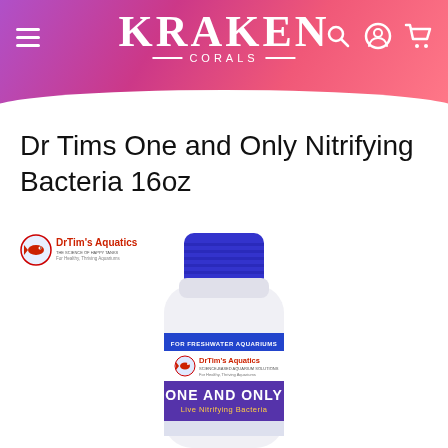KRAKEN CORALS
Dr Tims One and Only Nitrifying Bacteria 16oz
[Figure (logo): DrTim's Aquatics brand logo with fish icon]
[Figure (photo): Dr Tim's One and Only Live Nitrifying Bacteria 16oz bottle with blue cap and white body, label reading FOR FRESHWATER AQUARIUMS, DrTim's Aquatics, ONE AND ONLY, Live Nitrifying Bacteria]